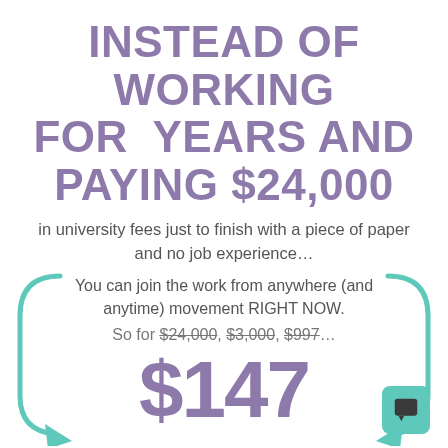INSTEAD OF WORKING FOR  YEARS AND PAYING $24,000
in university fees just to finish with a piece of paper and no job experience…
You can join the work from anywhere (and anytime) movement RIGHT NOW.
So for $24,000, $3,000, $997…
$147